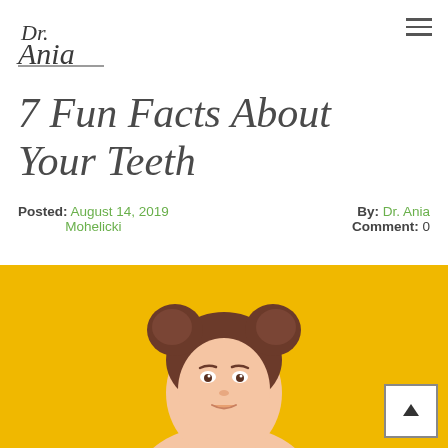Dr. Ania (logo)
7 Fun Facts About Your Teeth
Posted: August 14, 2019 Mohelicki   By: Dr. Ania   Comment: 0
[Figure (photo): Young girl with two bun hairstyles on yellow background, visible from forehead to chest, smiling slightly]